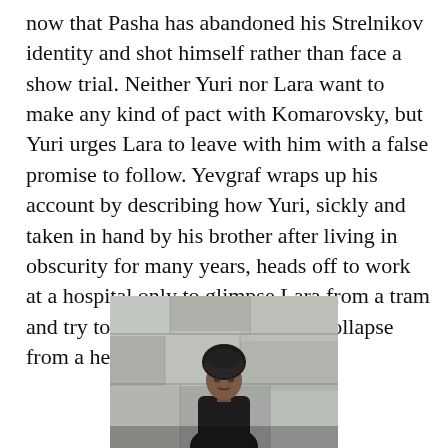now that Pasha has abandoned his Strelnikov identity and shot himself rather than face a show trial. Neither Yuri nor Lara want to make any kind of pact with Komarovsky, but Yuri urges Lara to leave with him with a false promise to follow. Yevgraf wraps up his account by describing how Yuri, sickly and taken in hand by his brother after living in obscurity for many years, heads off to work at a hospital only to glimpse Lara from a tram and try to chase after her, only to collapse from a heart attack and die.
[Figure (photo): A person wearing dark clothing and a dark hat or headpiece standing in front of a rough stone or concrete wall. The image is partially cut off at the bottom of the page.]